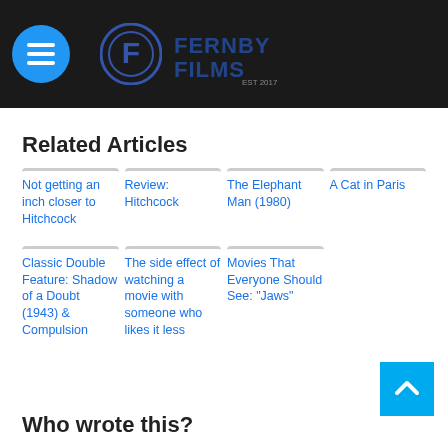Fernby Films
Related Articles
Not getting an inch closer to Hitchcock
Review: Hitchcock
The Elephant Man (1980)
A Cat in Paris
Classic Double Feature: Shadow of a Doubt (1943) & Compulsion
The side effect of watching a movie with someone who likes it less
Movies That Everyone Should See: "Jaws"
Who wrote this?